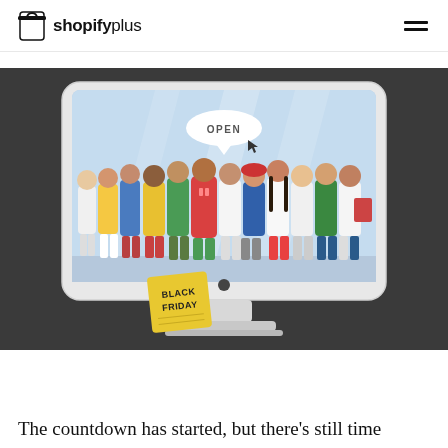shopify plus
[Figure (illustration): Illustration of a desktop computer monitor displaying a colorful scene of diverse people standing in a queue, with an 'OPEN' speech bubble and a cursor. A yellow sticky note with 'BLACK FRIDAY' text is shown in the lower left corner of the monitor, on a dark grey background.]
The countdown has started, but there's still time